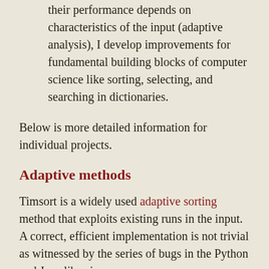their performance depends on characteristics of the input (adaptive analysis), I develop improvements for fundamental building blocks of computer science like sorting, selecting, and searching in dictionaries.
Below is more detailed information for individual projects.
Adaptive methods
Timsort is a widely used adaptive sorting method that exploits existing runs in the input. A correct, efficient implementation is not trivial as witnessed by the series of bugs in the Python and Java libraries.